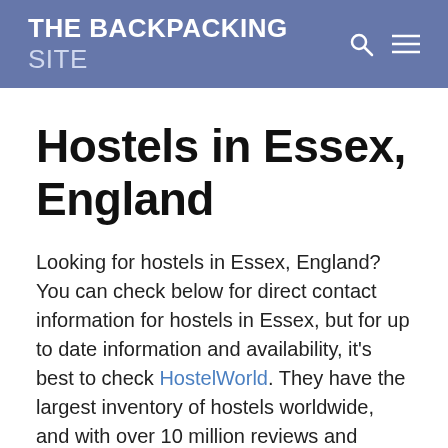THE BACKPACKING SITE
Hostels in Essex, England
Looking for hostels in Essex, England? You can check below for direct contact information for hostels in Essex, but for up to date information and availability, it's best to check HostelWorld. They have the largest inventory of hostels worldwide, and with over 10 million reviews and ratings from other travellers you know